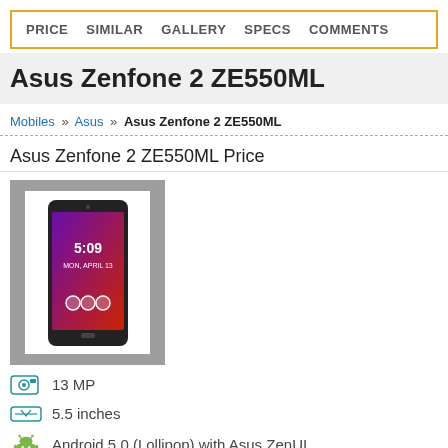PRICE  SIMILAR  GALLERY  SPECS  COMMENTS
Asus Zenfone 2 ZE550ML
Mobiles >> Asus >> Asus Zenfone 2 ZE550ML
Asus Zenfone 2 ZE550ML Price
[Figure (photo): Photo of Asus Zenfone 2 ZE550ML smartphone with purple wallpaper displaying clock and three navigation circles]
13 MP
5.5 inches
Android 5.0 (Lollipop) with Asus ZenUI